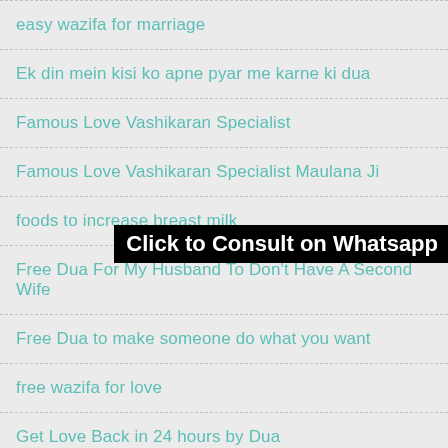easy wazifa for marriage
Ek din mein kisi ko apne pyar me karne ki dua
Famous Love Vashikaran Specialist
Famous Love Vashikaran Specialist Maulana Ji
foods to increase breast milk
[Figure (other): Black banner overlay with text 'Click to Consult on Whatsapp']
Free Dua For My Husband To Don't Have A Second Wife
Free Dua to make someone do what you want
free wazifa for love
Get Love Back in 24 hours by Dua
Get My Husband Back